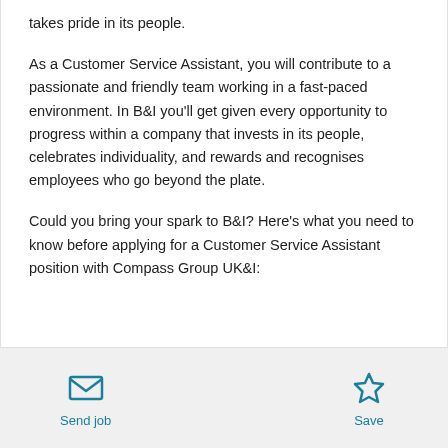takes pride in its people.
As a Customer Service Assistant, you will contribute to a passionate and friendly team working in a fast-paced environment. In B&I you'll get given every opportunity to progress within a company that invests in its people, celebrates individuality, and rewards and recognises employees who go beyond the plate.
Could you bring your spark to B&I? Here's what you need to know before applying for a Customer Service Assistant position with Compass Group UK&I:
[Figure (other): Footer bar with Send job (envelope icon) and Save (star icon) action buttons]